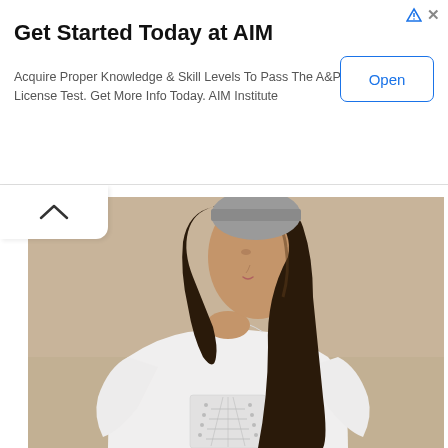[Figure (other): Advertisement banner for AIM Institute with title, body text, and Open button]
Get Started Today at AIM
Acquire Proper Knowledge & Skill Levels To Pass The A&P License Test. Get More Info Today. AIM Institute
[Figure (photo): Young woman with long dark hair wearing a white t-shirt with lace-up corset detail at the waist, standing against a beige wall, looking to the side]